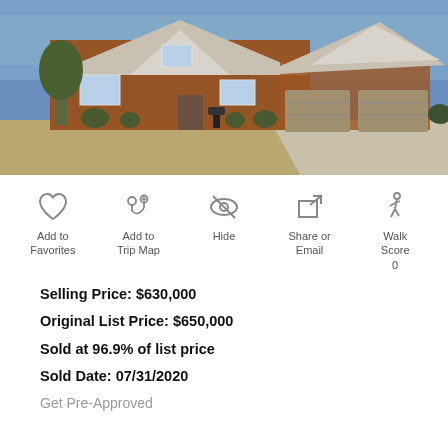[Figure (photo): Exterior photo of a two-story brick and siding house with three-car garage, large driveway, winter lawn, and trees in background]
[Figure (infographic): Row of five action icons: Add to Favorites (heart), Add to Trip Map (map pin with plus), Hide (eye with slash), Share or Email (share arrow), Walk Score 0 (walking figure)]
Selling Price: $630,000
Original List Price: $650,000
Sold at 96.9% of list price
Sold Date: 07/31/2020
Get Pre-Approved